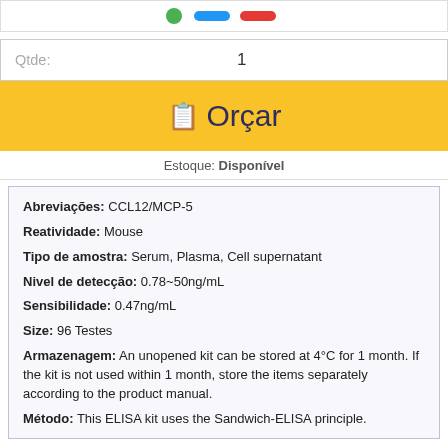[Figure (other): Top navigation bar with colored icons/buttons (green, blue, red)]
Qtde:    1
📋 Orçar
Estoque: Disponível
Abreviações: CCL12/MCP-5
Reatividade: Mouse
Tipo de amostra: Serum, Plasma, Cell supernatant
Nivel de detecção: 0.78~50ng/mL
Sensibilidade: 0.47ng/mL
Size: 96 Testes
Armazenagem: An unopened kit can be stored at 4°C for 1 month. If the kit is not used within 1 month, store the items separately according to the product manual.
Método: This ELISA kit uses the Sandwich-ELISA principle.